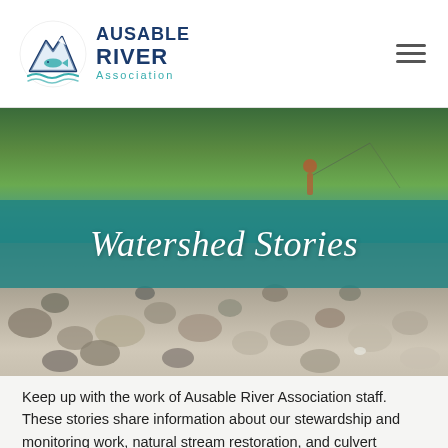[Figure (logo): Ausable River Association logo with mountain and fish icon in teal and navy blue]
Watershed Stories
[Figure (photo): Hero photo of a river scene: upper half shows lush green trees and a person fly fishing in turquoise water; lower half shows a rocky riverbed with smooth stones]
Keep up with the work of Ausable River Association staff. These stories share information about our stewardship and monitoring work, natural stream restoration, and culvert replacement techniques by highlighting specific projects in the Ausable and Boquet River watersheds of northern New York. They also give